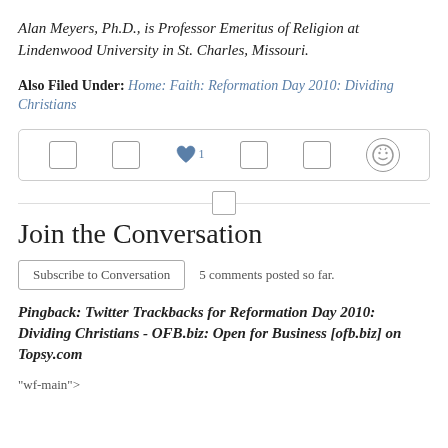Alan Meyers, Ph.D., is Professor Emeritus of Religion at Lindenwood University in St. Charles, Missouri.
Also Filed Under: Home: Faith: Reformation Day 2010: Dividing Christians
[Figure (other): Social sharing bar with icons: square, square, heart with count 1, square, square, and smiley face icon]
[Figure (other): Divider line with small square icon centered]
Join the Conversation
Subscribe to Conversation   5 comments posted so far.
Pingback: Twitter Trackbacks for Reformation Day 2010: Dividing Christians - OFB.biz: Open for Business [ofb.biz] on Topsy.com
"wf-main">